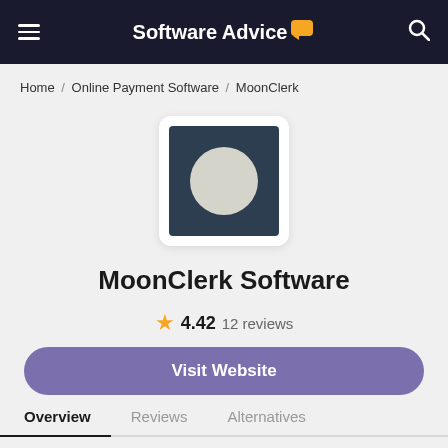Software Advice
Home / Online Payment Software / MoonClerk
[Figure (logo): MoonClerk logo: dark navy square with a light-colored circle (moon) centered on it, inside a white rounded card]
MoonClerk Software
★ 4.42 12 reviews
Visit Website
Overview   Reviews   Alternatives